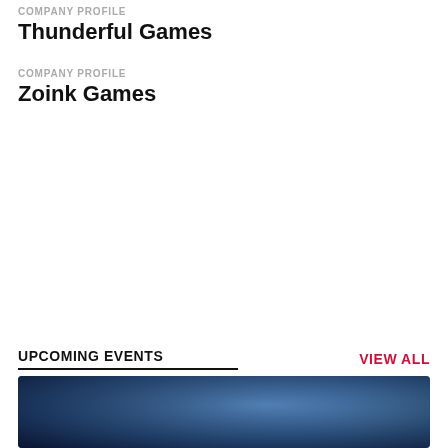COMPANY PROFILE
Thunderful Games
COMPANY PROFILE
Zoink Games
UPCOMING EVENTS
VIEW ALL
[Figure (photo): Dark blue atmospheric background image, showing a misty or cosmic scene with light haze effects]